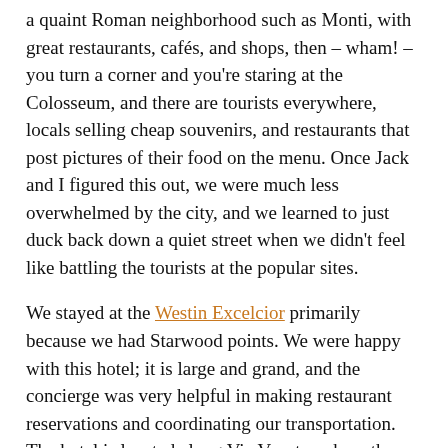a quaint Roman neighborhood such as Monti, with great restaurants, cafés, and shops, then – wham! – you turn a corner and you're staring at the Colosseum, and there are tourists everywhere, locals selling cheap souvenirs, and restaurants that post pictures of their food on the menu. Once Jack and I figured this out, we were much less overwhelmed by the city, and we learned to just duck back down a quiet street when we didn't feel like battling the tourists at the popular sites.
We stayed at the Westin Excelcior primarily because we had Starwood points. We were happy with this hotel; it is large and grand, and the concierge was very helpful in making restaurant reservations and coordinating our transportation. The hotel is located along Via Veneto, where there are many high end hotels. It is within walking distance of the Spanish Steps and the Borghese Gardens and Gallery, as well as the underground Metro. It was a nice hotel and I would definitely stay there again.